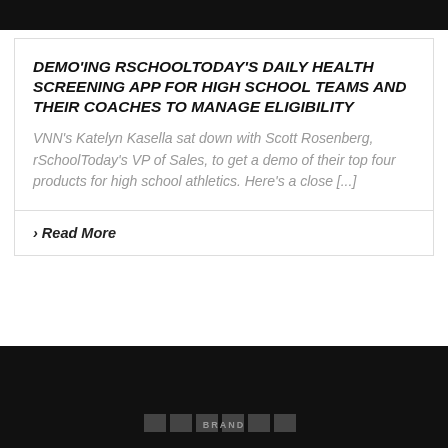DEMO'ING RSCHOOLTODAY'S DAILY HEALTH SCREENING APP FOR HIGH SCHOOL TEAMS AND THEIR COACHES TO MANAGE ELIGIBILITY
VNN's Katelyn Kasella sat down with Scott Rosenberg, rSchoolToday's VP of Sales, to get a demo of their top four products for high school athletics. Here's a close [...]
› Read More
[Figure (logo): Dark banner with a logo at the bottom]